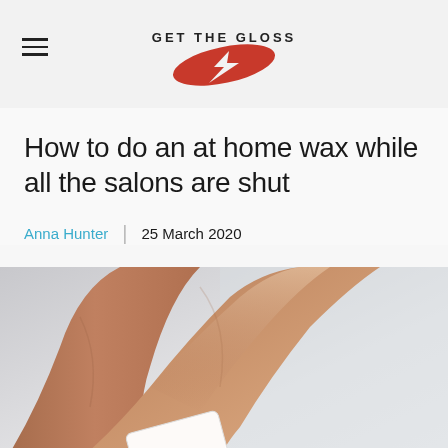GET THE GLOSS
How to do an at home wax while all the salons are shut
Anna Hunter | 25 March 2020
[Figure (photo): Close-up photograph of tanned legs with a white wax strip being applied, on a light grey/white background]